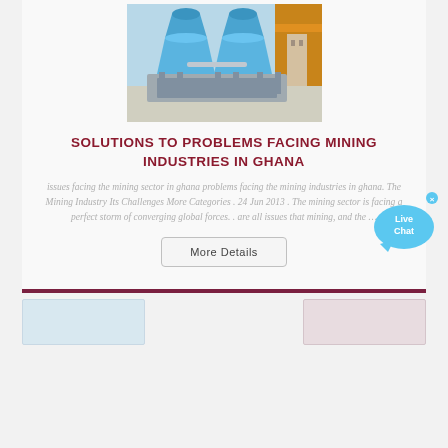[Figure (photo): Industrial mining equipment - blue cone crushers on a metal frame structure, outdoors]
SOLUTIONS TO PROBLEMS FACING MINING INDUSTRIES IN GHANA
issues facing the mining sector in ghana problems facing the mining industries in ghana. The Mining Industry Its Challenges More Categories . 24 Jun 2013 . The mining sector is facing a perfect storm of converging global forces. . are all issues that mining, and the ...
[Figure (illustration): Live Chat speech bubble widget with blue speech bubble shape and 'Live Chat' text]
[Figure (photo): Thumbnail image at bottom left]
[Figure (photo): Thumbnail image at bottom right]